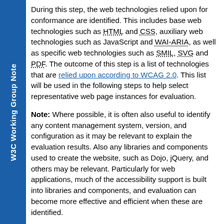W3C Working Group Note
During this step, the web technologies relied upon for conformance are identified. This includes base web technologies such as HTML and CSS, auxiliary web technologies such as JavaScript and WAI-ARIA, as well as specific web technologies such as SMIL, SVG and PDF. The outcome of this step is a list of technologies that are relied upon according to WCAG 2.0. This list will be used in the following steps to help select representative web page instances for evaluation.
Note: Where possible, it is often also useful to identify any content management system, version, and configuration as it may be relevant to explain the evaluation results. Also any libraries and components used to create the website, such as Dojo, jQuery, and others may be relevant. Particularly for web applications, much of the accessibility support is built into libraries and components, and evaluation can become more effective and efficient when these are identified.
Step 2.e: Identify Other Relevant Web Pages